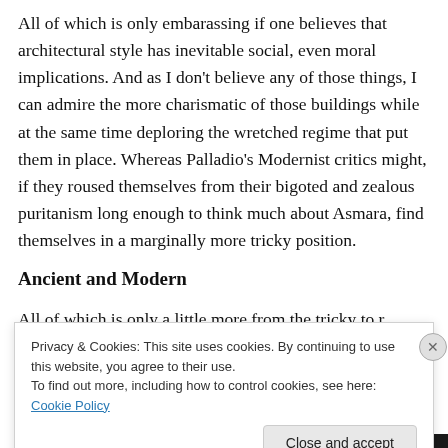All of which is only embarassing if one believes that architectural style has inevitable social, even moral implications. And as I don't believe any of those things, I can admire the more charismatic of those buildings while at the same time deploring the wretched regime that put them in place. Whereas Palladio's Modernist critics might, if they roused themselves from their bigoted and zealous puritanism long enough to think much about Asmara, find themselves in a marginally more tricky position.
Ancient and Modern
All of which is only a little more from the tricky...
Privacy & Cookies: This site uses cookies. By continuing to use this website, you agree to their use.
To find out more, including how to control cookies, see here: Cookie Policy